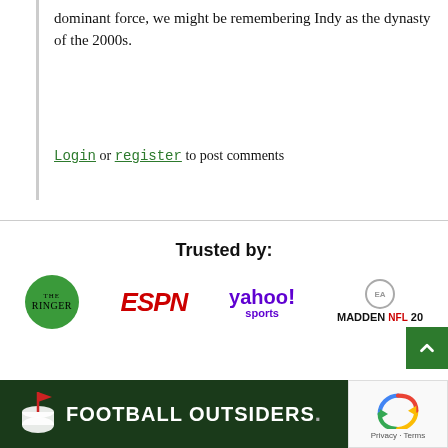dominant force, we might be remembering Indy as the dynasty of the 2000s.
Login or register to post comments
Trusted by:
[Figure (logo): The Ringer logo - green circle with white text]
[Figure (logo): ESPN logo in red italic bold text]
[Figure (logo): Yahoo! Sports logo in purple]
[Figure (logo): Madden NFL 20 EA Sports logo]
FOOTBALL OUTSIDERS